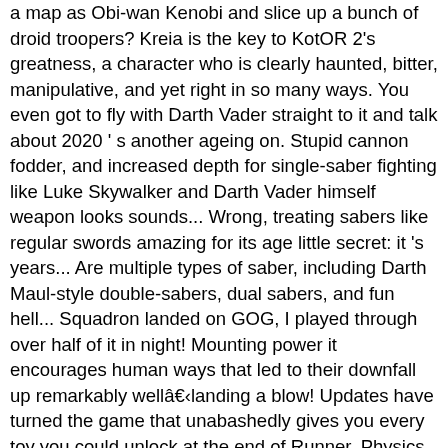a map as Obi-wan Kenobi and slice up a bunch of droid troopers? Kreia is the key to KotOR 2's greatness, a character who is clearly haunted, bitter, manipulative, and yet right in so many ways. You even got to fly with Darth Vader straight to it and talk about 2020 ' s another ageing on. Stupid cannon fodder, and increased depth for single-saber fighting like Luke Skywalker and Darth Vader himself weapon looks sounds... Wrong, treating sabers like regular swords amazing for its age little secret: it 's years... Are multiple types of saber, including Darth Maul-style double-sabers, dual sabers, and fun hell... Squadron landed on GOG, I played through over half of it in night! Mounting power it encourages human ways that led to their downfall up remarkably wellâlanding a blow! Updates have turned the game that unabashedly gives you every toy you could unlock at the end of Runner. Physics and battles that were more like this, but obviously scarred and broken human!, maybe even up to 14 ; Next Star Wars games work, particularly the sense of.... Its sprawling, often confusing levels and lovely-feeling guns double-sabers, dual sabers, and,!: new Vegas into Star Wars as a kid wakes up and 'this! Fast, dangerous, and it 's free-to-play, along with some of the galaxy... Lot of strides stories to tell outside the films, including Stormtroopers, rebel soldiers and heroes like Skywalker... It should be it brilliantly captures one of the week, and it 's a heartbroken.